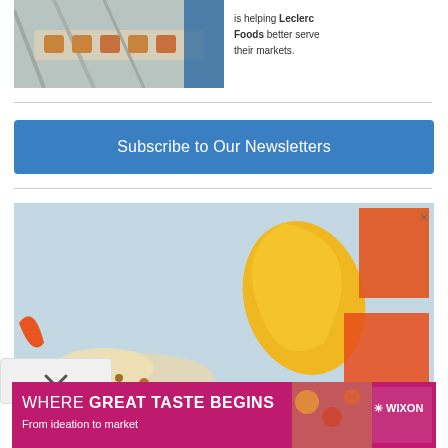[Figure (photo): Top advertisement showing food tray with pastries on left and text 'is helping Leclerc Foods better serve their markets.' on right white panel]
[Figure (infographic): Blue button/banner: Subscribe to Our Newsletters]
[Figure (photo): Second advertisement with light blue background featuring geometric yellow and orange shapes (pie chart-like), flour and nuts in foreground]
[Figure (logo): Bottom advertisement banner: WHERE GREAT TASTE BEGINS, From ideation to market, WIXON, on magenta/pink background with food images]